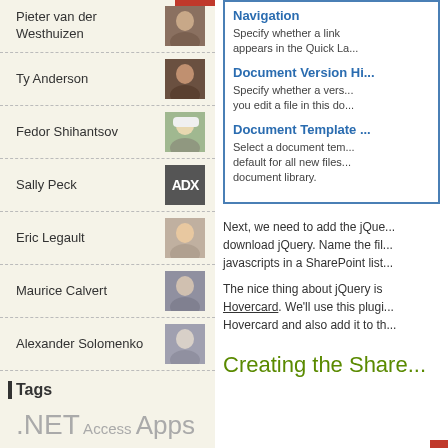Pieter van der Westhuizen
Ty Anderson
Fedor Shihantsov
Sally Peck
Eric Legault
Maurice Calvert
Alexander Solomenko
Tags
.NET Access Apps for Office ASP.NET C# COM
Navigation
Specify whether a link appears in the Quick La...
Document Version Hi...
Specify whether a vers... you edit a file in this do...
Document Template ...
Select a document tem... default for all new files... document library.
Next, we need to add the jQue... download jQuery. Name the fil... javascripts in a SharePoint list...
The nice thing about jQuery is... Hovercard. We'll use this plugi... Hovercard and also add it to th...
Creating the Share...